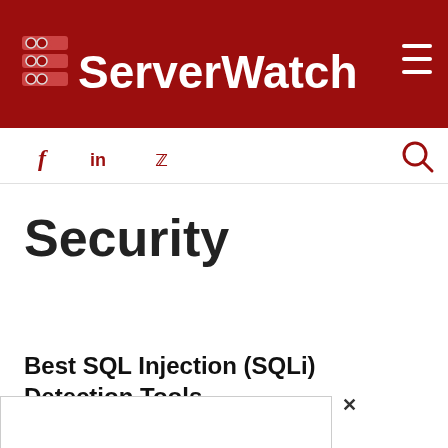ServerWatch
[Figure (logo): ServerWatch website header with dark red background, server rack icon and ServerWatch text logo in white, hamburger menu icon on the right]
f   in   (twitter bird icon)   (search icon)
Security
Best SQL Injection (SQLi) Detection Tools